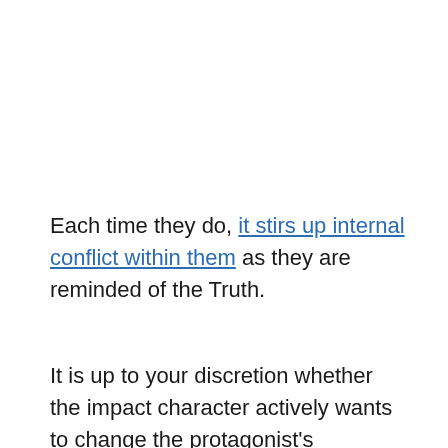Each time they do, it stirs up internal conflict within them as they are reminded of the Truth.
It is up to your discretion whether the impact character actively wants to change the protagonist's worldview or not, and how much the protagonist resists this new information.
However, the Truth is what the protagonist needs to defeat the antagonist and any other external forces.
Over the course of the story, the protagonist must